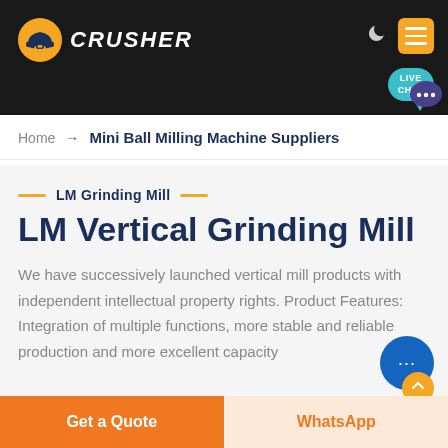[Figure (screenshot): Website header banner with dark background showing industrial machinery, company logo on the left, moon and menu icons on top right, and live chat bubble on right side]
Home → Mini Ball Milling Machine Suppliers
LM Grinding Mill
LM Vertical Grinding Mill
We have successively launched vertical mill products with independent intellectual property rights. Product Features: Integration of multiple functions, more stable and reliable production and more excellent capacity
Get a Quote
WhatsApp